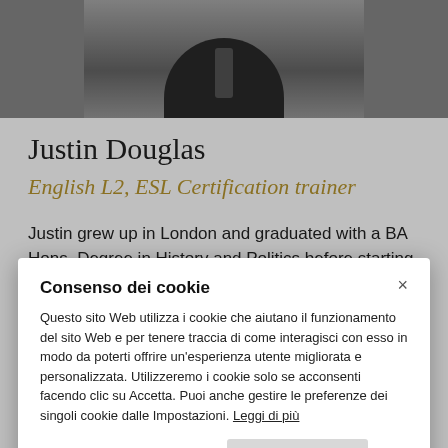[Figure (photo): Black and white photo of Justin Douglas, cropped to show his upper chest/torso wearing a suit and tie, with the top of the frame cutting off above the face.]
Justin Douglas
English L2, ESL Certification trainer
Justin grew up in London and graduated with a BA Hons. Degree in History and Politics before starting his career in
Consenso dei cookie
Questo sito Web utilizza i cookie che aiutano il funzionamento del sito Web e per tenere traccia di come interagisci con esso in modo da poterti offrire un'esperienza utente migliorata e personalizzata. Utilizzeremo i cookie solo se acconsenti facendo clic su Accetta. Puoi anche gestire le preferenze dei singoli cookie dalle Impostazioni. Leggi di più